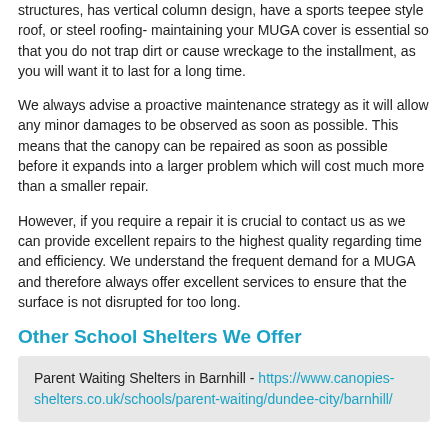structures, has vertical column design, have a sports teepee style roof, or steel roofing- maintaining your MUGA cover is essential so that you do not trap dirt or cause wreckage to the installment, as you will want it to last for a long time.
We always advise a proactive maintenance strategy as it will allow any minor damages to be observed as soon as possible. This means that the canopy can be repaired as soon as possible before it expands into a larger problem which will cost much more than a smaller repair.
However, if you require a repair it is crucial to contact us as we can provide excellent repairs to the highest quality regarding time and efficiency. We understand the frequent demand for a MUGA and therefore always offer excellent services to ensure that the surface is not disrupted for too long.
Other School Shelters We Offer
Parent Waiting Shelters in Barnhill - https://www.canopies-shelters.co.uk/schools/parent-waiting/dundee-city/barnhill/